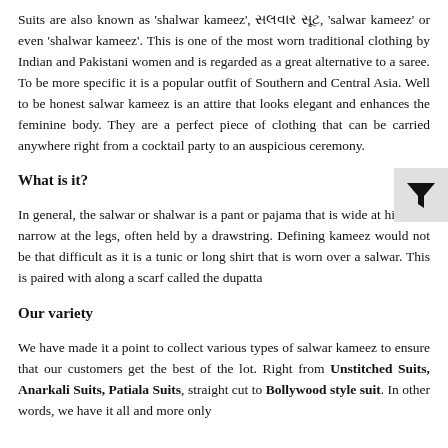Suits are also known as 'shalwar kameez', સલવાર સૂટ, 'salwar kameez' or even 'shalwar kameez'. This is one of the most worn traditional clothing by Indian and Pakistani women and is regarded as a great alternative to a saree. To be more specific it is a popular outfit of Southern and Central Asia. Well to be honest salwar kameez is an attire that looks elegant and enhances the feminine body. They are a perfect piece of clothing that can be carried anywhere right from a cocktail party to an auspicious ceremony.
What is it?
In general, the salwar or shalwar is a pant or pajama that is wide at hips and narrow at the legs, often held by a drawstring. Defining kameez would not be that difficult as it is a tunic or long shirt that is worn over a salwar. This is paired with along a scarf called the dupatta
Our variety
We have made it a point to collect various types of salwar kameez to ensure that our customers get the best of the lot. Right from Unstitched Suits, Anarkali Suits, Patiala Suits, straight cut to Bollywood style suit. In other words, we have it all and more only